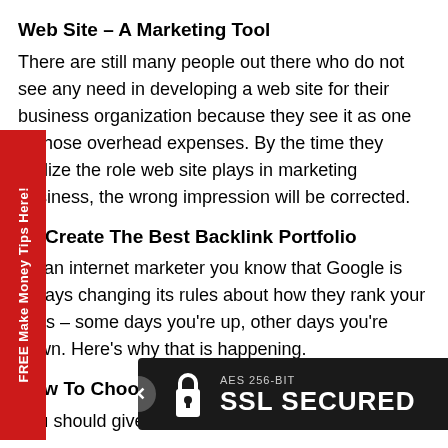Web Site – A Marketing Tool
There are still many people out there who do not see any need in developing a web site for their business organization because they see it as one of those overhead expenses. By the time they realize the role web site plays in marketing business, the wrong impression will be corrected.
To Create The Best Backlink Portfolio
As an internet marketer you know that Google is always changing its rules about how they rank your sites – some days you're up, other days you're down. Here's why that is happening.
How To Choose Your Niche Prod…
You should give care and time to n…
[Figure (other): SSL Secured badge overlay with AES 256-BIT SSL SECURED text and padlock icon]